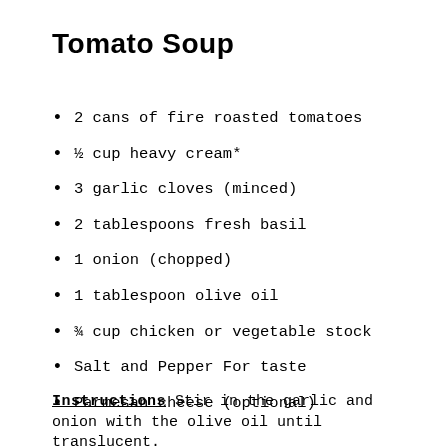Tomato Soup
2 cans of fire roasted tomatoes
½ cup heavy cream*
3 garlic cloves (minced)
2 tablespoons fresh basil
1 onion (chopped)
1 tablespoon olive oil
¾ cup chicken or vegetable stock
Salt and Pepper For taste
Parmesan cheese (optional)
Instructions Stir in the garlic and onion with the olive oil until translucent.